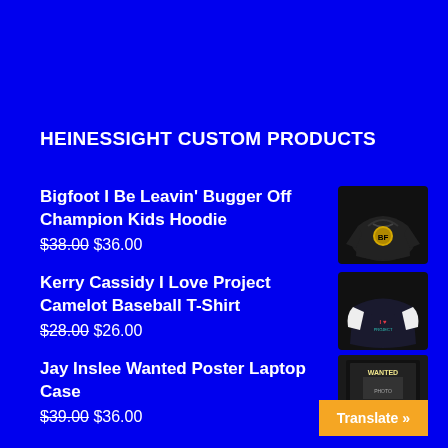HEINESSIGHT CUSTOM PRODUCTS
Bigfoot I Be Leavin' Bugger Off Champion Kids Hoodie
$38.00 $36.00
[Figure (photo): Black kids hoodie with yellow logo on chest]
Kerry Cassidy I Love Project Camelot Baseball T-Shirt
$28.00 $26.00
[Figure (photo): Black and white baseball t-shirt with I Love Project Camelot graphic]
Jay Inslee Wanted Poster Laptop Case
$39.00 $36.00
[Figure (photo): Black laptop case with Jay Inslee Wanted poster graphic]
Translate »